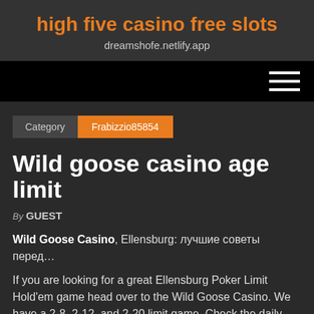high five casino free slots
dreamshofe.netlify.app
[Figure (other): Navigation bar with hamburger menu icon (three horizontal white lines) on black background]
Category  Frabizzio85854
Wild goose casino age limit
By GUEST
Wild Goose Casino, Ellensburg: лучшие советы перед…
If you are looking for a great Ellensburg Poker Limit Hold'em game head over to the Wild Goose Casino. We have a 2-8, 2-12, and 2-20 limit game. Check the daily poker